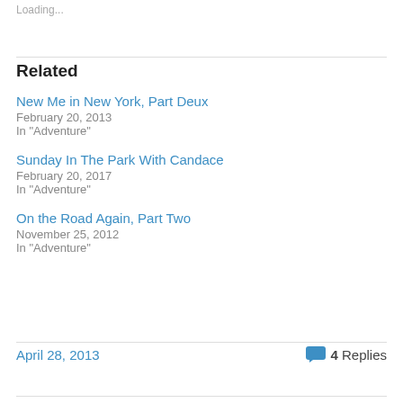Loading...
Related
New Me in New York, Part Deux
February 20, 2013
In "Adventure"
Sunday In The Park With Candace
February 20, 2017
In "Adventure"
On the Road Again, Part Two
November 25, 2012
In "Adventure"
April 28, 2013
4 Replies